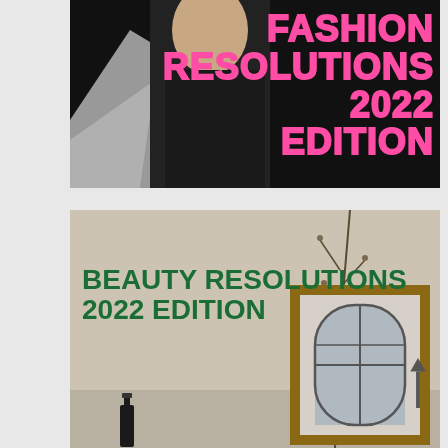[Figure (photo): Dark/black background with a person wearing black, and bold pink outlined text reading FASHION RESOLUTIONS 2022 EDITION on the right side. A gray card/paper is visible at lower left.]
[Figure (photo): Light beige interior scene with a dried botanical branch, a framed artwork showing an arched window, a dark bottle, and bold dark green text reading BEAUTY RESOLUTIONS 2022 EDITION on the left.]